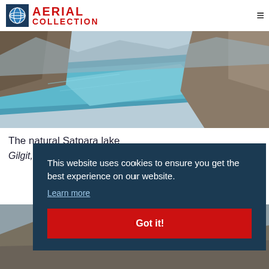[Figure (logo): Aerial Collection logo with globe icon, red AERIAL COLLECTION text]
[Figure (photo): Aerial photo of the natural Satpara lake in Gilgit, Pakistan — turquoise-blue lake surrounded by steep rocky mountain cliffs]
The natural Satpara lake
Gilgit, Pakistan
This website uses cookies to ensure you get the best experience on our website. Learn more
[Figure (photo): Bottom thumbnail strip showing a partial mountain/landscape photo, with red badge showing '1' and blue navigation element]